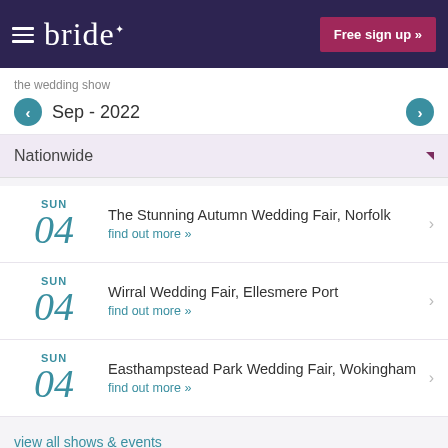bride — Free sign up »
the wedding show
Sep - 2022
Nationwide
SUN 04 — The Stunning Autumn Wedding Fair, Norfolk — find out more »
SUN 04 — Wirral Wedding Fair, Ellesmere Port — find out more »
SUN 04 — Easthampstead Park Wedding Fair, Wokingham — find out more »
view all shows & events